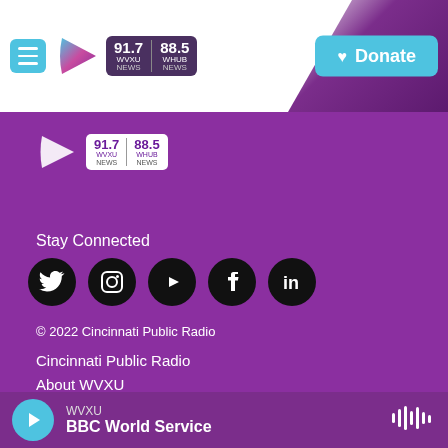[Figure (logo): WVXU 91.7 / WHUB 88.5 news radio logo with play arrow icon in header navigation bar]
[Figure (logo): Donate button with heart icon on teal background]
[Figure (logo): WVXU 91.7 / WHUB 88.5 news radio logo in footer area on purple background]
Stay Connected
[Figure (infographic): Row of 5 social media icons: Twitter, Instagram, YouTube, Facebook, LinkedIn — each in a black circle]
© 2022 Cincinnati Public Radio
Cincinnati Public Radio
About WVXU
Program Schedule
WVXU
BBC World Service